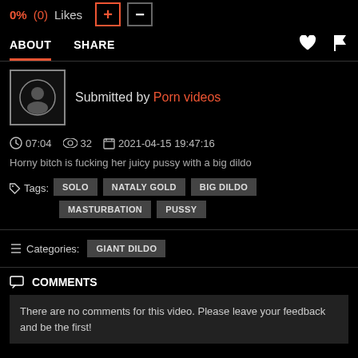0% (0) Likes
ABOUT  SHARE
Submitted by Porn videos
07:04   32   2021-04-15 19:47:16
Horny bitch is fucking her juicy pussy with a big dildo
Tags: SOLO  NATALY GOLD  BIG DILDO  MASTURBATION  PUSSY
Categories: GIANT DILDO
COMMENTS
There are no comments for this video. Please leave your feedback and be the first!